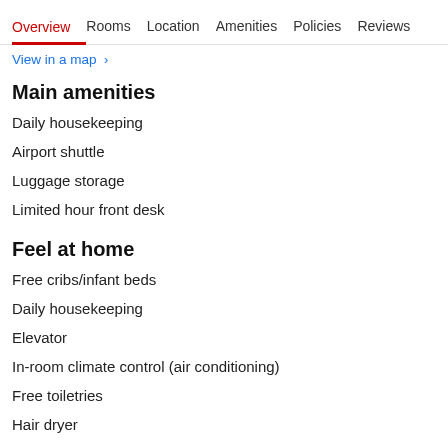Overview  Rooms  Location  Amenities  Policies  Reviews
View in a map  ›
Main amenities
Daily housekeeping
Airport shuttle
Luggage storage
Limited hour front desk
Feel at home
Free cribs/infant beds
Daily housekeeping
Elevator
In-room climate control (air conditioning)
Free toiletries
Hair dryer
Cleaning & Safety